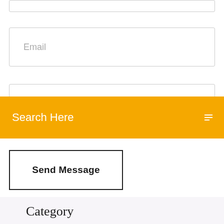Email
Search Here
Send Message
Category
Comment telecharger de la musique sur mon pc